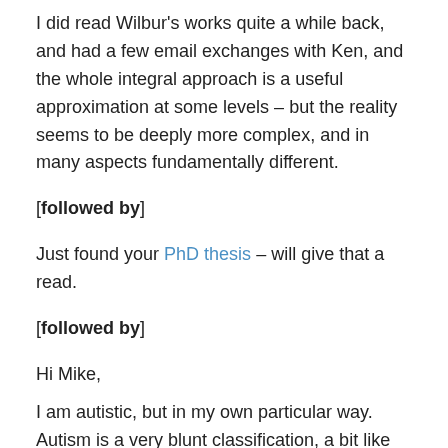I did read Wilbur's works quite a while back, and had a few email exchanges with Ken, and the whole integral approach is a useful approximation at some levels – but the reality seems to be deeply more complex, and in many aspects fundamentally different.
[followed by]
Just found your PhD thesis – will give that a read.
[followed by]
Hi Mike,
I am autistic, but in my own particular way. Autism is a very blunt classification, a bit like saying I live in New Zealand – it constrains some attributes but leaves others relatively